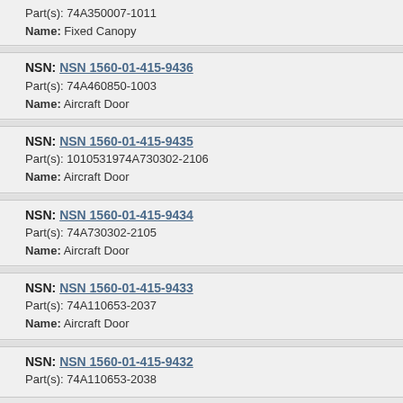Part(s): 74A350007-1011
Name: Fixed Canopy
NSN: NSN 1560-01-415-9436
Part(s): 74A460850-1003
Name: Aircraft Door
NSN: NSN 1560-01-415-9435
Part(s): 1010531974A730302-2106
Name: Aircraft Door
NSN: NSN 1560-01-415-9434
Part(s): 74A730302-2105
Name: Aircraft Door
NSN: NSN 1560-01-415-9433
Part(s): 74A110653-2037
Name: Aircraft Door
NSN: NSN 1560-01-415-9432
Part(s): 74A110653-2038